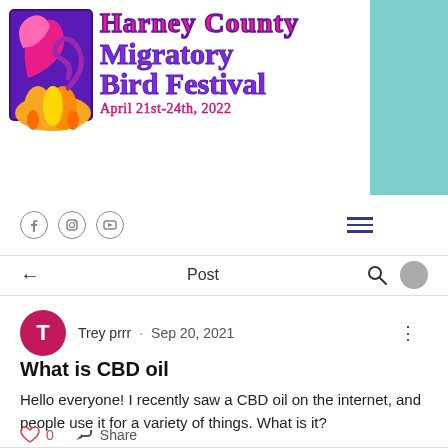[Figure (logo): Harney County Migratory Bird Festival logo with colorful bird graphic on left and decorative script text reading 'Harney County Migratory Bird Festival' with date 'April 21st-24th, 2022' on pink/purple cursive text]
[Figure (screenshot): Website navigation bar with Facebook, Instagram, YouTube social icons on left and hamburger menu icon on right]
Post
Trey prrr · Sep 20, 2021
What is CBD oil
Hello everyone! I recently saw a CBD oil on the internet, and people use it for a variety of things. What is it?
0   Share